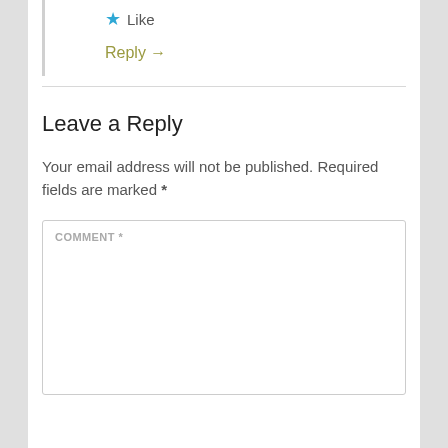★ Like
Reply →
Leave a Reply
Your email address will not be published. Required fields are marked *
COMMENT *